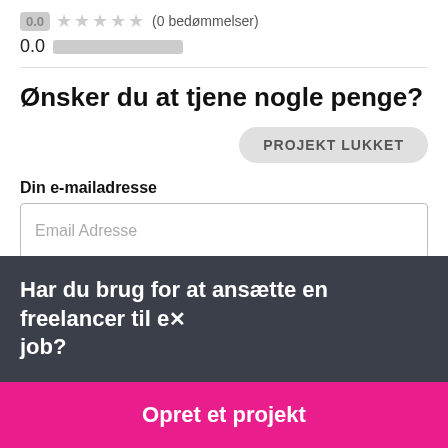0.0 ★★★★★ (0 bedømmelser)
0.0 $
Ønsker du at tjene nogle penge?
PROJEKT LUKKET
Din e-mailadresse
Email Adresse
Har du brug for at ansætte en freelancer til et job?
Opret et projekt